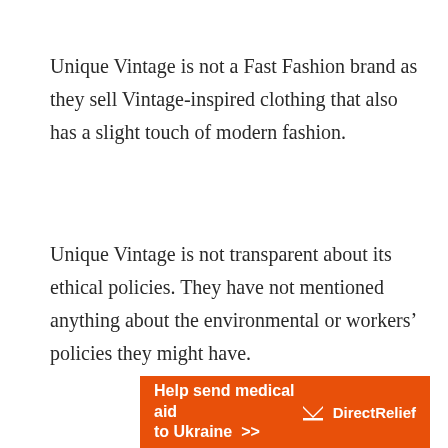Unique Vintage is not a Fast Fashion brand as they sell Vintage-inspired clothing that also has a slight touch of modern fashion.
Unique Vintage is not transparent about its ethical policies. They have not mentioned anything about the environmental or workers’ policies they might have.
[Figure (infographic): Orange banner advertisement reading 'Help send medical aid to Ukraine >>' with Direct Relief logo on the right.]